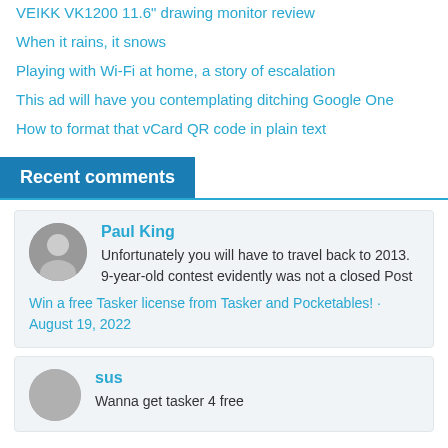VEIKK VK1200 11.6" drawing monitor review
When it rains, it snows
Playing with Wi-Fi at home, a story of escalation
This ad will have you contemplating ditching Google One
How to format that vCard QR code in plain text
Recent comments
Paul King
Unfortunately you will have to travel back to 2013. 9-year-old contest evidently was not a closed Post
Win a free Tasker license from Tasker and Pocketables! · August 19, 2022
sus
Wanna get tasker 4 free